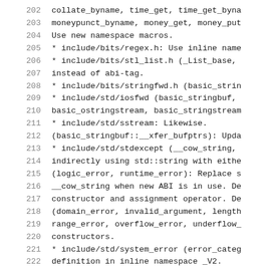202    collate_byname, time_get, time_get_byna
203    moneypunct_byname, money_get, money_put
204    Use new namespace macros.
205    * include/bits/regex.h: Use inline name
206    * include/bits/stl_list.h (_List_base,
207    instead of abi-tag.
208    * include/bits/stringfwd.h (basic_strin
209    * include/std/iosfwd (basic_stringbuf,
210    basic_ostringstream, basic_stringstream
211    * include/std/sstream: Likewise.
212    (basic_stringbuf::__xfer_bufptrs): Upda
213    * include/std/stdexcept (__cow_string,
214    indirectly using std::string with eithe
215    (logic_error, runtime_error): Replace s
216    __cow_string when new ABI is in use. De
217    constructor and assignment operator. De
218    (domain_error, invalid_argument, length
219    range_error, overflow_error, underflow_
220    constructors.
221    * include/std/system_error (error_categ
222    definition in inline namespace _V2.